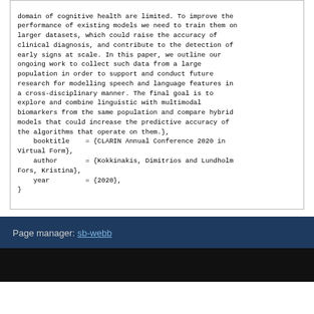domain of cognitive health are limited. To improve the performance of existing models we need to train them on larger datasets, which could raise the accuracy of clinical diagnosis, and contribute to the detection of early signs at scale. In this paper, we outline our ongoing work to collect such data from a large population in order to support and conduct future research for modelling speech and language features in a cross-disciplinary manner. The final goal is to explore and combine linguistic with multimodal biomarkers from the same population and compare hybrid models that could increase the predictive accuracy of the algorithms that operate on them.},
    booktitle    = {CLARIN Annual Conference 2020 in Virtual Form},
    author       = {Kokkinakis, Dimitrios and Lundholm Fors, Kristina},
    year         = {2020},
}
Page manager: sb-webb